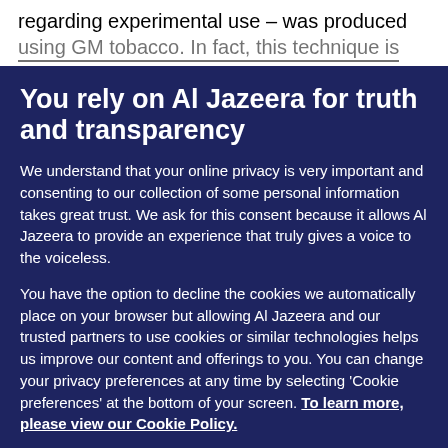regarding experimental use – was produced using GM tobacco. In fact, this technique is
You rely on Al Jazeera for truth and transparency
We understand that your online privacy is very important and consenting to our collection of some personal information takes great trust. We ask for this consent because it allows Al Jazeera to provide an experience that truly gives a voice to the voiceless.
You have the option to decline the cookies we automatically place on your browser but allowing Al Jazeera and our trusted partners to use cookies or similar technologies helps us improve our content and offerings to you. You can change your privacy preferences at any time by selecting 'Cookie preferences' at the bottom of your screen. To learn more, please view our Cookie Policy.